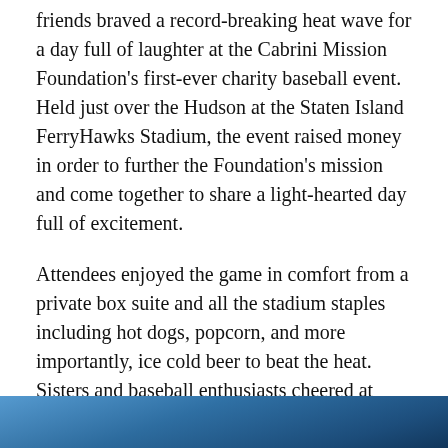friends braved a record-breaking heat wave for a day full of laughter at the Cabrini Mission Foundation's first-ever charity baseball event. Held just over the Hudson at the Staten Island FerryHawks Stadium, the event raised money in order to further the Foundation's mission and come together to share a light-hearted day full of excitement.
Attendees enjoyed the game in comfort from a private box suite and all the stadium staples including hot dogs, popcorn, and more importantly, ice cold beer to beat the heat. Sisters and baseball enthusiasts cheered at each inning – even a fly ball was caught and cherished as a keepsake.
In all, the event was a ‘Home Run’!
[Figure (photo): Bottom strip showing a blue-toned outdoor photo, likely taken at the baseball stadium event.]